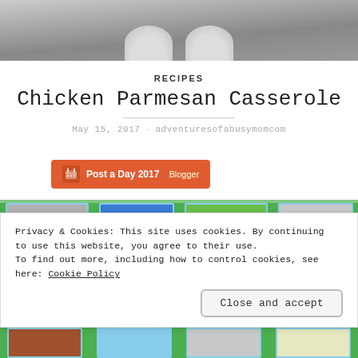[Figure (photo): Black and white photo strip showing feet/legs at the top of the page]
RECIPES
Chicken Parmesan Casserole
May 15, 2017 · adventuresofabusymomcom
[Figure (other): Orange badge: Post a Day 2017 Blogger]
[Figure (photo): Recipe images strip with green background]
Privacy & Cookies: This site uses cookies. By continuing to use this website, you agree to their use.
To find out more, including how to control cookies, see here: Cookie Policy
Close and accept